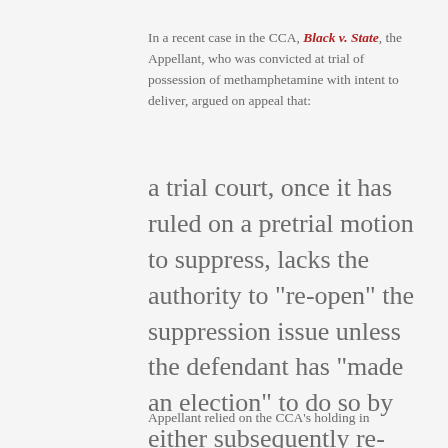In a recent case in the CCA, Black v. State, the Appellant, who was convicted at trial of possession of methamphetamine with intent to deliver, argued on appeal that:
a trial court, once it has ruled on a pretrial motion to suppress, lacks the authority to “re-open” the suppression issue unless the defendant has “made an election” to do so by either subsequently re-raising the suppression issue himself or acquiescing in the State’s reintroduction of the issue at trial.
Appellant relied on the CCA’s holding in